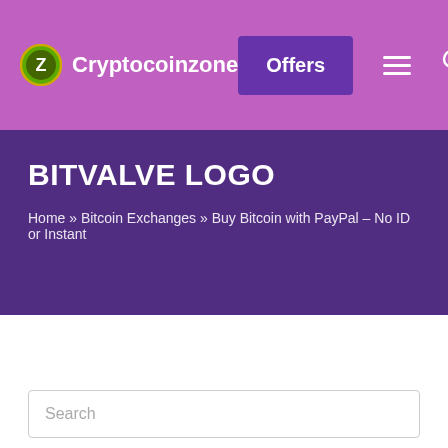Cryptocoinzone — Offers navigation bar
BITVALVE LOGO
Home » Bitcoin Exchanges » Buy Bitcoin with PayPal – No ID or Instant
Search